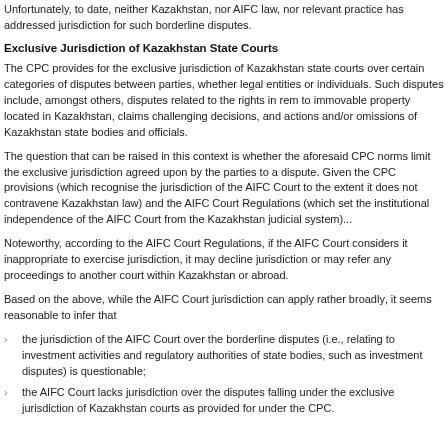Unfortunately, to date, neither Kazakhstan, nor AIFC law, nor relevant practice has addressed jurisdiction for such borderline disputes.
Exclusive Jurisdiction of Kazakhstan State Courts
The CPC provides for the exclusive jurisdiction of Kazakhstan state courts over certain categories of disputes between parties, whether legal entities or individuals. Such disputes include, amongst others, disputes related to the rights in rem to immovable property located in Kazakhstan, claims challenging decisions, and actions and/or omissions of Kazakhstan state bodies and officials.
The question that can be raised in this context is whether the aforesaid CPC norms limit the exclusive jurisdiction agreed upon by the parties to a dispute. Given the CPC provisions (which recognise the jurisdiction of the AIFC Court to the extent it does not contravene Kazakhstan law) and the AIFC Court Regulations (which set the institutional independence of the AIFC Court from the Kazakhstan judicial system)...
Noteworthy, according to the AIFC Court Regulations, if the AIFC Court considers it inappropriate to exercise jurisdiction, it may decline jurisdiction or may refer any proceedings to another court within Kazakhstan or abroad.
Based on the above, while the AIFC Court jurisdiction can apply rather broadly to AIFC-related disputes, it seems reasonable to infer that
the jurisdiction of the AIFC Court over the borderline disputes (i.e., relating to investment activities and regulatory authorities of state bodies, such as investment disputes) is questionable;
the AIFC Court lacks jurisdiction over the disputes falling under the exclusive jurisdiction of Kazakhstan courts as provided for under the CPC.